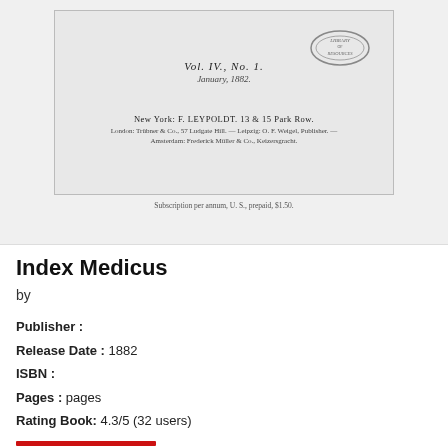[Figure (photo): Scanned title page of Index Medicus, Vol. IV, No. 1, January 1882, published by F. Leypoldt, 13 & 15 Park Row, New York. Contains a library stamp and agent listings.]
Index Medicus
by
Publisher :
Release Date : 1882
ISBN :
Pages : pages
Rating Book: 4.3/5 (32 users)